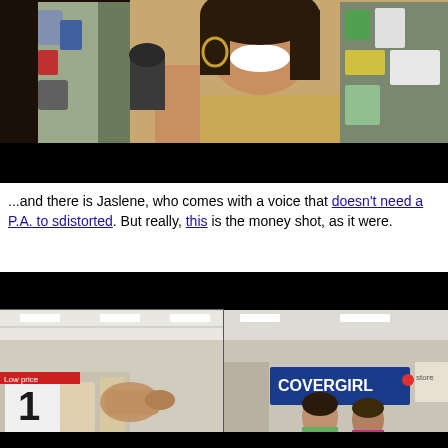[Figure (photo): A woman smiling and laughing in a retail store, holding a hair dryer or similar product up near her face. She wears a tan/khaki shirt and large hoop earrings. Store shelves visible in background. Video frame with black letterbox bars at bottom.]
...and there is Jaslene, who comes with a voice that doesn't need a P.A. to s... distorted. But really, this is the money shot, as it were.
[Figure (photo): Split or dual-frame video still from a retail store. Left side shows a hand/finger pointing at something, with store shelves and a price sign showing '1'. Right side shows a CoverGirl banner/sign and two women in the background. Black letterbox bar at top.]